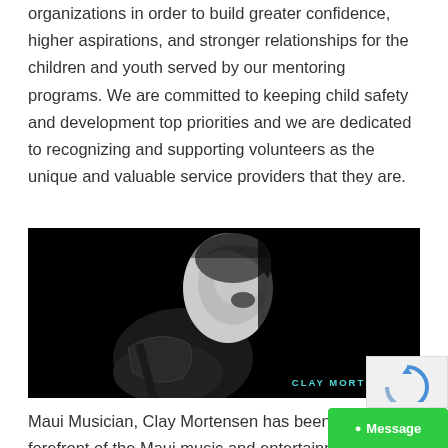organizations in order to build greater confidence, higher aspirations, and stronger relationships for the children and youth served by our mentoring programs. We are committed to keeping child safety and development top priorities and we are dedicated to recognizing and supporting volunteers as the unique and valuable service providers that they are.
[Figure (photo): Black and white photo of a man (Clay Mortensen) playing guitar, head tilted back, with the name CLAY MORTENSEN in teal text at the bottom right]
Maui Musician, Clay Mortensen has been at the forefront of the Maui music and entertainment scene